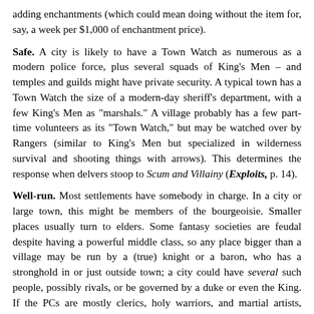adding enchantments (which could mean doing without the item for, say, a week per $1,000 of enchantment price).
Safe. A city is likely to have a Town Watch as numerous as a modern police force, plus several squads of King's Men – and temples and guilds might have private security. A typical town has a Town Watch the size of a modern-day sheriff's department, with a few King's Men as "marshals." A village probably has a few part-time volunteers as its "Town Watch," but may be watched over by Rangers (similar to King's Men but specialized in wilderness survival and shooting things with arrows). This determines the response when delvers stoop to Scum and Villainy (Exploits, p. 14).
Well-run. Most settlements have somebody in charge. In a city or large town, this might be members of the bourgeoisie. Smaller places usually turn to elders. Some fantasy societies are feudal despite having a powerful middle class, so any place bigger than a village may be run by a (true) knight or a baron, who has a stronghold in or just outside town; a city could have several such people, possibly rivals, or be governed by a duke or even the King. If the PCs are mostly clerics, holy warriors, and martial artists, make the authorities high-ranking priests and abbots.
Famous for . . . Everything above could change if a town is famous for something. For instance, perhaps the place is